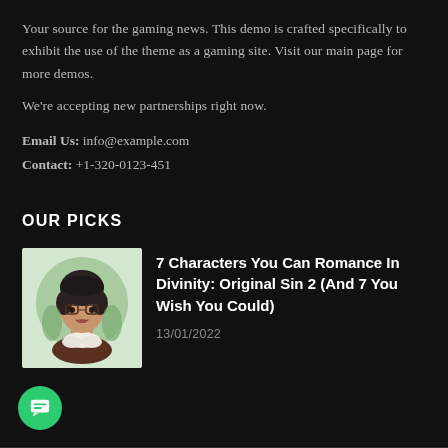Your source for the gaming news. This demo is crafted specifically to exhibit the use of the theme as a gaming site. Visit our main page for more demos.
We're accepting new partnerships right now.
Email Us: info@example.com
Contact: +1-320-0123-451
OUR PICKS
[Figure (illustration): Illustrated cartoon character portrait of a person with dark hair and glasses on a mint green circular background]
7 Characters You Can Romance In Divinity: Original Sin 2 (And 7 You Wish You Could)
13/01/2022